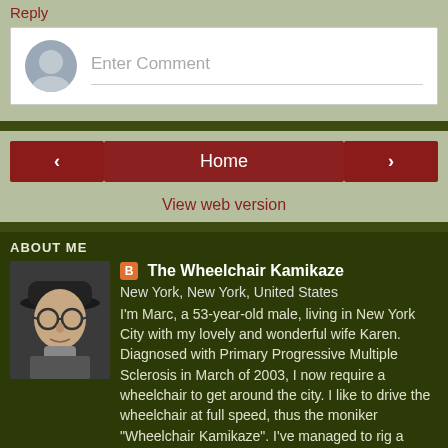Reply
[Figure (other): Comment input box with avatar placeholder and 'Enter Comment' placeholder text]
[Figure (other): Navigation buttons: left arrow, Home, right arrow, and View web version link]
ABOUT ME
[Figure (photo): Black and white photo of a man wearing a hat and glasses]
The Wheelchair Kamikaze
New York, New York, United States
I'm Marc, a 53-year-old male, living in New York City with my lovely and wonderful wife Karen. Diagnosed with Primary Progressive Multiple Sclerosis in March of 2003, I now require a wheelchair to get around the city. I like to drive the wheelchair at full speed, thus the moniker "Wheelchair Kamikaze". I've managed to rig a camera to my chair, so I'm able to take videos and still photos from the unique vantage point of a wheelchair, which